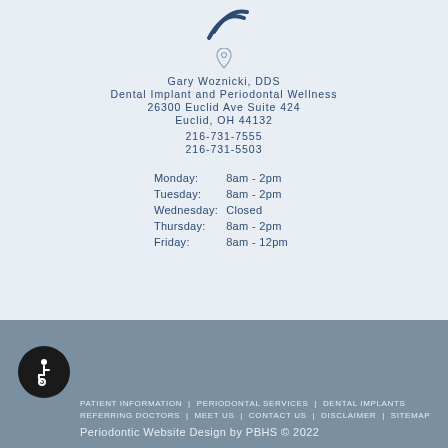[Figure (logo): Partial dental/periodontal logo mark showing curved lines in dark blue/gray]
Gary Woznicki, DDS
Dental Implant and Periodontal Wellness
26300 Euclid Ave Suite 424
Euclid, OH 44132
216-731-7555
216-731-5503
| Monday: | 8am - 2pm |
| Tuesday: | 8am - 2pm |
| Wednesday: | Closed |
| Thursday: | 8am - 2pm |
| Friday: | 8am - 12pm |
PATIENT INFORMATION | PERIODONTAL SERVICES | DENTAL IMPLANTS | REFERRING DOCTORS | MEET US | CONTACT US | DISCLAIMER | SITEMAP
Periodontic Website Design by PBHS © 2022